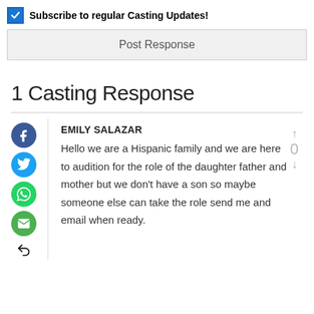Subscribe to regular Casting Updates!
Post Response
1 Casting Response
EMILY SALAZAR
Hello we are a Hispanic family and we are here to audition for the role of the daughter father and mother but we don't have a son so maybe someone else can take the role send me and email when ready.